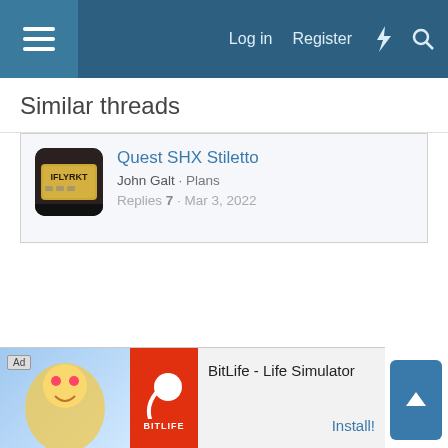Log in  Register
Similar threads
Quest SHX Stiletto · John Galt · Plans · Replies 7 · Mar 3, 2022
[Figure (screenshot): Advertisement banner for BitLife - Life Simulator app with Install button]